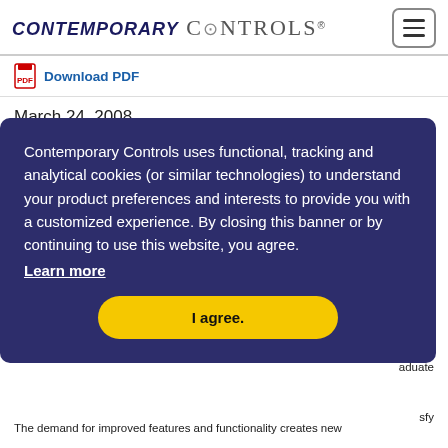CONTEMPORARY CONTROLS
Download PDF
March 24, 2008
Ethernet Infrastructure + BASrouter = Your Ideal Solution
Contemporary Controls uses functional, tracking and analytical cookies (or similar technologies) to understand your product preferences and interests to provide you with a customized experience. By closing this banner or by continuing to use this website, you agree.
Learn more
I agree.
The demand for improved features and functionality creates new